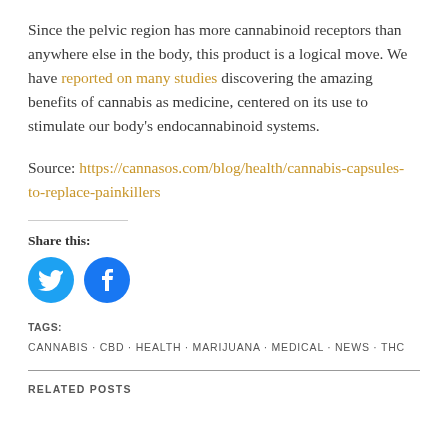Since the pelvic region has more cannabinoid receptors than anywhere else in the body, this product is a logical move. We have reported on many studies discovering the amazing benefits of cannabis as medicine, centered on its use to stimulate our body's endocannabinoid systems.
Source: https://cannasos.com/blog/health/cannabis-capsules-to-replace-painkillers
Share this:
[Figure (other): Twitter and Facebook share icon buttons (circular blue icons)]
TAGS:
CANNABIS · CBD · HEALTH · MARIJUANA · MEDICAL · NEWS · THC
RELATED POSTS